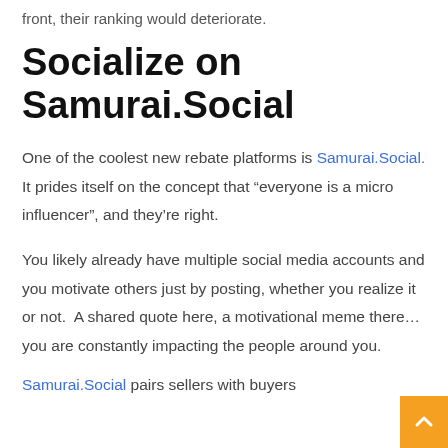front, their ranking would deteriorate.
Socialize on Samurai.Social
One of the coolest new rebate platforms is Samurai.Social.  It prides itself on the concept that “everyone is a micro influencer”, and they’re right.
You likely already have multiple social media accounts and you motivate others just by posting, whether you realize it or not.  A shared quote here, a motivational meme there… you are constantly impacting the people around you.
Samurai.Social pairs sellers with buyers